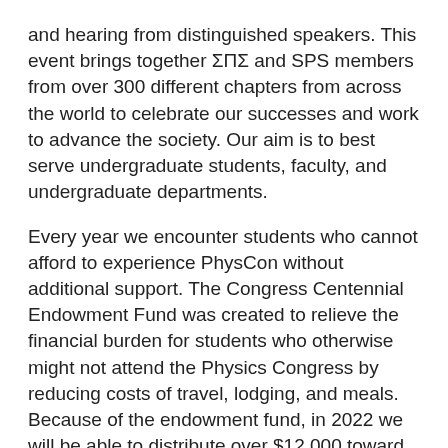and hearing from distinguished speakers. This event brings together ΣΠΣ and SPS members from over 300 different chapters from across the world to celebrate our successes and work to advance the society. Our aim is to best serve undergraduate students, faculty, and undergraduate departments.
Every year we encounter students who cannot afford to experience PhysCon without additional support. The Congress Centennial Endowment Fund was created to relieve the financial burden for students who otherwise might not attend the Physics Congress by reducing costs of travel, lodging, and meals. Because of the endowment fund, in 2022 we will be able to distribute over $12,000 toward student travel expenses and ensure that up to 60 students have housing for the duration of the event. From all of the students this fund will impact, the SPS National Council, and the SPS and ΣΠΣ Executive Committee thank you for helping to make this dream a